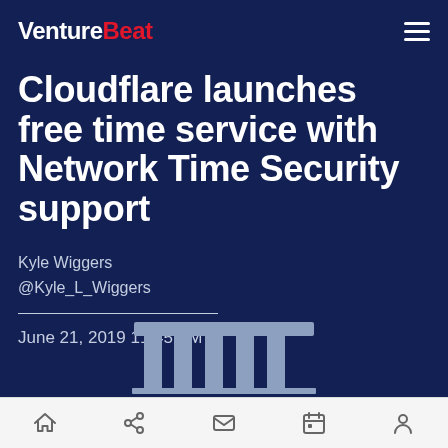VentureBeat
Cloudflare launches free time service with Network Time Security support
Kyle Wiggers
@Kyle_L_Wiggers
June 21, 2019 11:45 AM
[Figure (illustration): Illustration of a classical building/temple with columns, rendered in a light blue-grey color on dark navy background]
Navigation bar with home, share, email, calendar, and profile icons